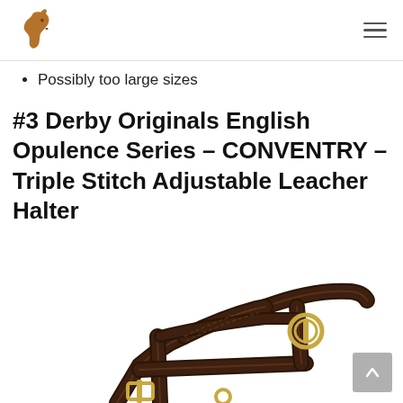Horse equipment website header with logo and navigation menu
Possibly too large sizes
#3 Derby Originals English Opulence Series – CONVENTRY – Triple Stitch Adjustable Leacher Halter
[Figure (photo): Dark brown leather horse halter with triple stitching and brass/gold buckles, shown from front angle on white background. The halter straps are thick and richly detailed.]